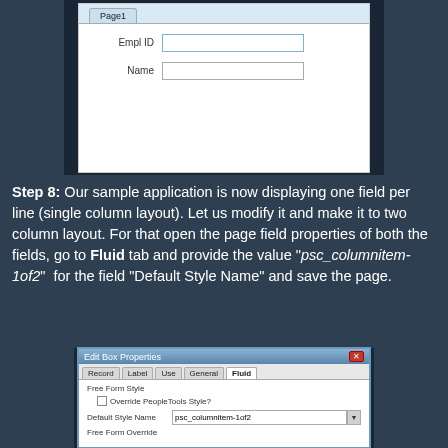[Figure (screenshot): PeopleSoft Fluid form showing Page1 tab with Empl ID and Name fields in single column layout]
Step 8: Our sample application is now displaying one field per line (single column layout). Let us modify it and make it to two column layout. For that open the page field properties of both the fields, go to Fluid tab and provide the value "psc_columnitem-1of2" for the field "Default Style Name" and save the page.
[Figure (screenshot): Edit Box Properties dialog showing Fluid tab with Default Style Name field containing 'psc_columnitem-1of2']